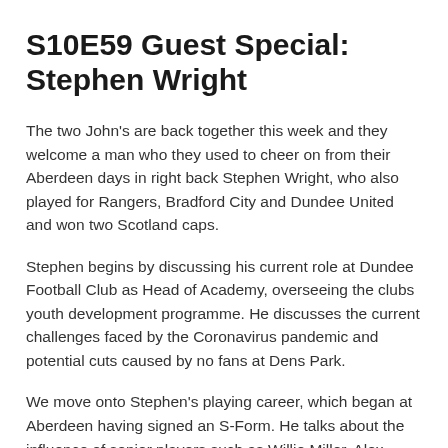S10E59 Guest Special: Stephen Wright
The two John's are back together this week and they welcome a man who they used to cheer on from their Aberdeen days in right back Stephen Wright, who also played for Rangers, Bradford City and Dundee United and won two Scotland caps.
Stephen begins by discussing his current role at Dundee Football Club as Head of Academy, overseeing the clubs youth development programme. He discusses the current challenges faced by the Coronavirus pandemic and potential cuts caused by no fans at Dens Park.
We move onto Stephen's playing career, which began at Aberdeen having signed an S-Form. He talks about the influence of senior players such as Willie Miller, Alex McLeish, Stewart McKimmie and Robert Connor when he was learning